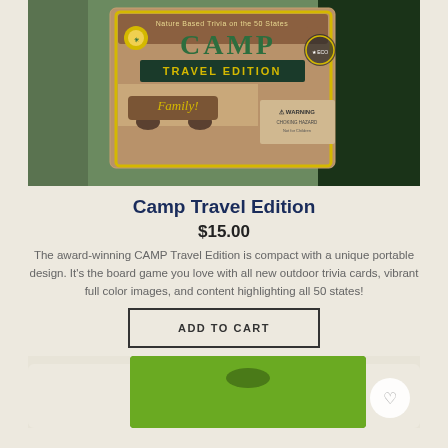[Figure (photo): Person holding a Camp Travel Edition board game package with brown and gold packaging, showing 'Nature Based Trivia on the 50 States', 'CAMP TRAVEL EDITION', 'Just for the whole Family!' text and a warning label.]
Camp Travel Edition
$15.00
The award-winning CAMP Travel Edition is compact with a unique portable design. It's the board game you love with all new outdoor trivia cards, vibrant full color images, and content highlighting all 50 states!
ADD TO CART
[Figure (photo): Partial view of a green product package at the bottom of the page.]